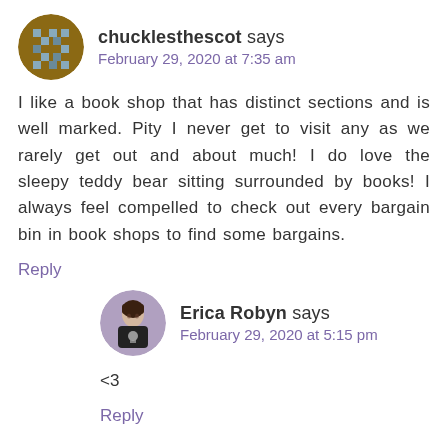chucklesthescot says
February 29, 2020 at 7:35 am
I like a book shop that has distinct sections and is well marked. Pity I never get to visit any as we rarely get out and about much! I do love the sleepy teddy bear sitting surrounded by books! I always feel compelled to check out every bargain bin in book shops to find some bargains.
Reply
Erica Robyn says
February 29, 2020 at 5:15 pm
<3
Reply